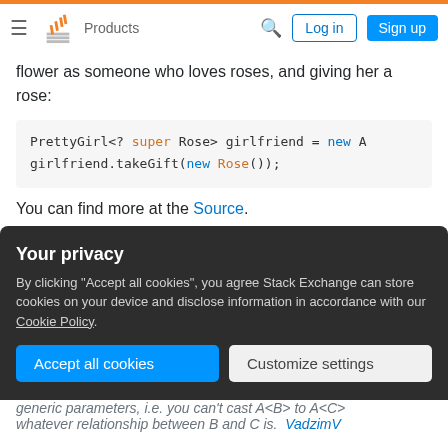Stack Overflow — Products | Log in | Sign up
flower as someone who loves roses, and giving her a rose:
[Figure (screenshot): Code block showing: PrettyGirl<? super Rose> girlfriend = new A
girlfriend.takeGift(new Rose());]
You can find more at the Source.
Share
Improve this answer
Follow
edited May 24 at 9:39
Roman Mahotskyi
2,810 ●3 ●23 ●54
Your privacy
By clicking "Accept all cookies", you agree Stack Exchange can store cookies on your device and disclose information in accordance with our Cookie Policy.
Accept all cookies   Customize settings
generic parameters, i.e. you can't cast A<B> to A<C> whatever relationship between B and C is.   VadzimV